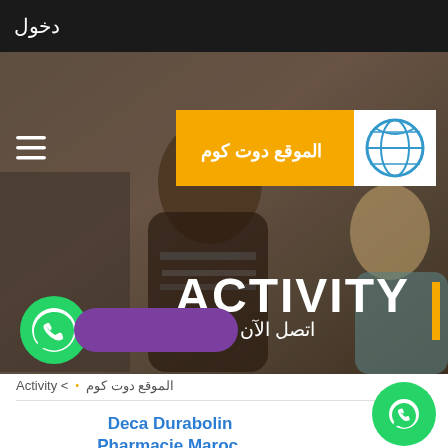دخول
[Figure (screenshot): Website hero banner with students in classroom background, logo banner reading 'الموقع دوت كوم' with globe icon, ACTIVITY title text, yellow accent bar, and WhatsApp contact button labeled 'اتصل الآن']
الموقع دوت كوم • < Activity
Deca Durabolin Pharmacie Maroc, Anabolic Steroids For